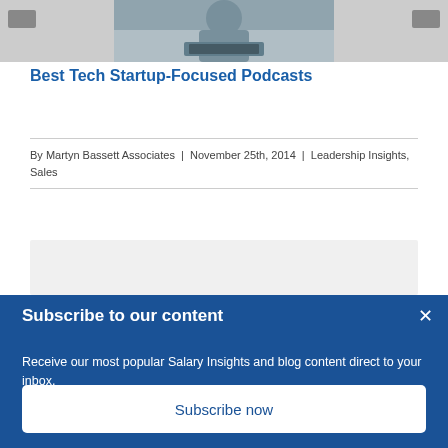[Figure (photo): Photo of a person working at a laptop, partially visible at the top of the page, with navigation arrow buttons on left and right sides]
Best Tech Startup-Focused Podcasts
By Martyn Bassett Associates | November 25th, 2014 | Leadership Insights, Sales
Subscribe to our content
Receive our most popular Salary Insights and blog content direct to your inbox.
Subscribe now